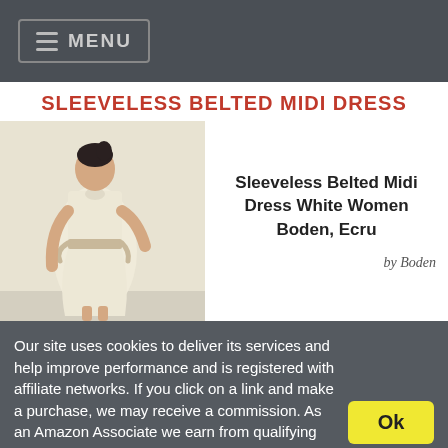MENU
SLEEVELESS BELTED MIDI DRESS
[Figure (photo): A woman wearing a sleeveless belted midi dress in ecru/white color, standing against a light background.]
Sleeveless Belted Midi Dress White Women Boden, Ecru
by Boden
Our site uses cookies to deliver its services and help improve performance and is registered with affiliate networks. If you click on a link and make a purchase, we may receive a commission. As an Amazon Associate we earn from qualifying purchases. By clicking on or navigating the site, you agree to our use of cookies. View our Cookie Policy and Affiliate Disclosure